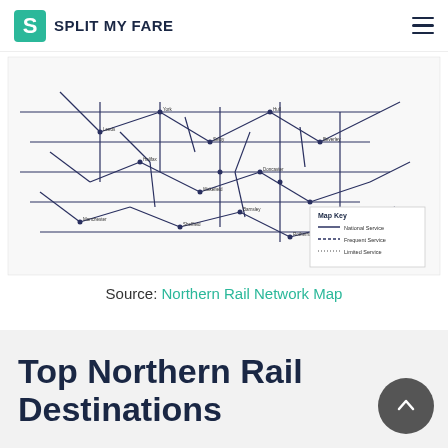SPLIT MY FARE
[Figure (map): Northern Rail Network Map showing rail lines and stations across northern England, with a Map Key legend in the bottom right corner showing different line types.]
Source: Northern Rail Network Map
Top Northern Rail Destinations